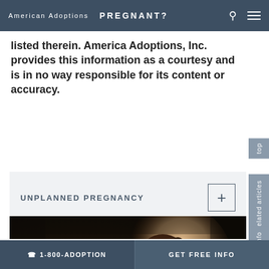American Adoptions  PREGNANT?
listed therein. America Adoptions, Inc. provides this information as a courtesy and is in no way responsible for its content or accuracy.
UNPLANNED PREGNANCY
[Figure (photo): Young woman in a plaid shirt looking thoughtfully to the side in a dimly lit environment, possibly at a laptop screen.]
☎ 1-800-ADOPTION    GET FREE INFO